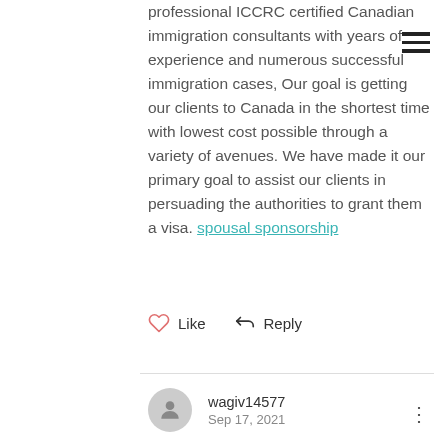professional ICCRC certified Canadian immigration consultants with years of experience and numerous successful immigration cases, Our goal is getting our clients to Canada in the shortest time with lowest cost possible through a variety of avenues. We have made it our primary goal to assist our clients in persuading the authorities to grant them a visa. spousal sponsorship
[Figure (other): Hamburger menu icon (three horizontal lines)]
Like   Reply
wagiv14577
Sep 17, 2021
Explore Top 38 Heart Chakra Stones to induce immediate and effective healing and unblocking of the Heart Chakra Includes pictures, how to use, 38 Best Stones & Crystals for Immediate & Effective Heart Chakra Healing. heart chakra stones